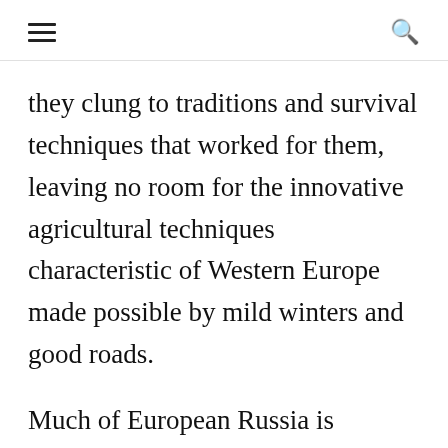☰  🔍
they clung to traditions and survival techniques that worked for them, leaving no room for the innovative agricultural techniques characteristic of Western Europe made possible by mild winters and good roads.
Much of European Russia is situated on a great plain, leaving only rivers as natural barriers to protect against invaders.  As a